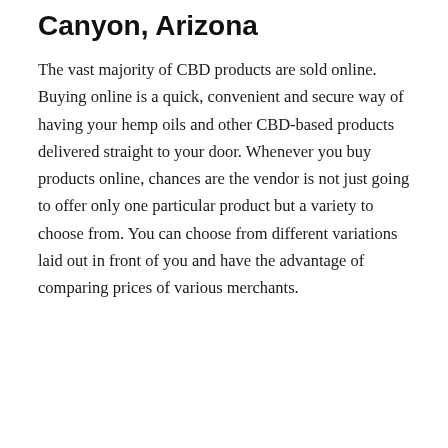Canyon, Arizona
The vast majority of CBD products are sold online. Buying online is a quick, convenient and secure way of having your hemp oils and other CBD-based products delivered straight to your door. Whenever you buy products online, chances are the vendor is not just going to offer only one particular product but a variety to choose from. You can choose from different variations laid out in front of you and have the advantage of comparing prices of various merchants.